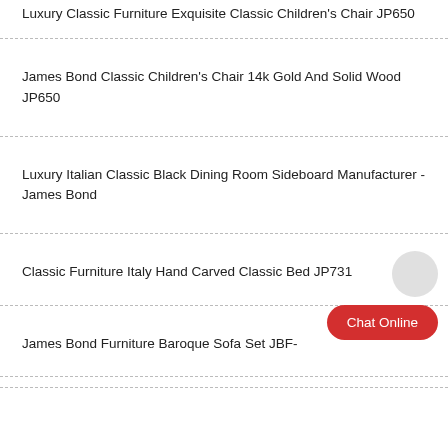Luxury Classic Furniture Exquisite Classic Children's Chair JP650
James Bond Classic Children's Chair 14k Gold And Solid Wood JP650
Luxury Italian Classic Black Dining Room Sideboard Manufacturer - James Bond
Classic Furniture Italy Hand Carved Classic Bed JP731
James Bond Furniture Baroque Sofa Set JBF-